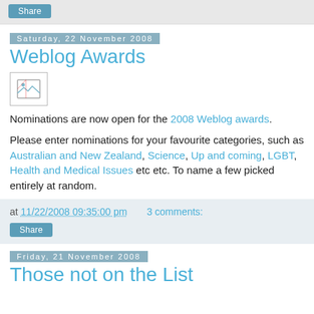Share
Saturday, 22 November 2008
Weblog Awards
[Figure (illustration): Broken image placeholder icon]
Nominations are now open for the 2008 Weblog awards.
Please enter nominations for your favourite categories, such as Australian and New Zealand, Science, Up and coming, LGBT, Health and Medical Issues etc etc. To name a few picked entirely at random.
at 11/22/2008 09:35:00 pm   3 comments:   Share
Friday, 21 November 2008
Those not on the List